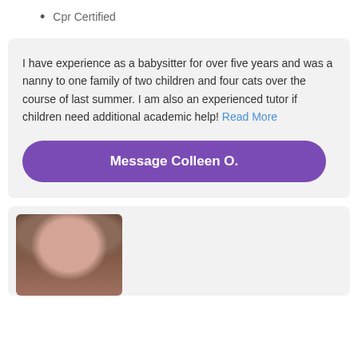Cpr Certified
I have experience as a babysitter for over five years and was a nanny to one family of two children and four cats over the course of last summer. I am also an experienced tutor if children need additional academic help! Read More
Message Colleen O.
[Figure (photo): Profile photo of a young woman with glasses and a brown headband, smiling, wearing a light-colored top.]